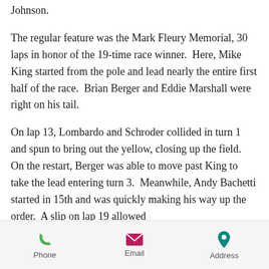Johnson.
The regular feature was the Mark Fleury Memorial, 30 laps in honor of the 19-time race winner.  Here, Mike King started from the pole and lead nearly the entire first half of the race.  Brian Berger and Eddie Marshall were right on his tail.
On lap 13, Lombardo and Schroder collided in turn 1 and spun to bring out the yellow, closing up the field.  On the restart, Berger was able to move past King to take the lead entering turn 3.  Meanwhile, Andy Bachetti started in 15th and was quickly making his way up the order.  A slip on lap 19 allowed
Phone   Email   Address